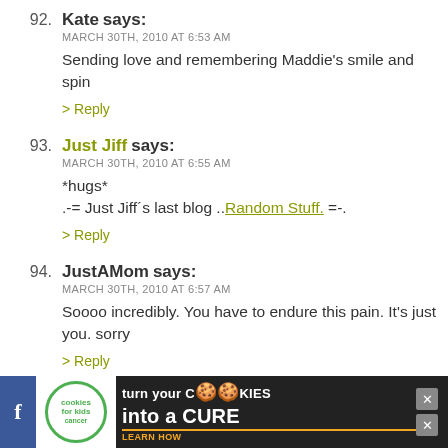92. Kate says: MARCH 30TH, 2010 AT 6:53 AM
Sending love and remembering Maddie's smile and spir
93. Just Jiff says: MARCH 30TH, 2010 AT 6:55 AM
*hugs*
.-= Just Jiff's last blog ..Random Stuff. =-.
94. JustAMom says: MARCH 30TH, 2010 AT 6:57 AM
Soooo incredibly. You have to endure this pain. It's just you. sorry
95. JustAMom says:
[Figure (infographic): Advertisement banner: cookies for kids cancer - turn your cookies into a CURE LEARN HOW]